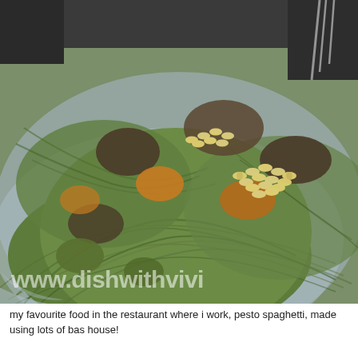[Figure (photo): A plate of pesto spaghetti topped with pine nuts and mixed vegetables including mushrooms and tomatoes, served on a light blue plate with a fork visible in the upper right corner. A watermark reads 'www.dishwithvivi' at the bottom of the image.]
my favourite food in the restaurant where i work, pesto spaghetti, made using lots of bas house!